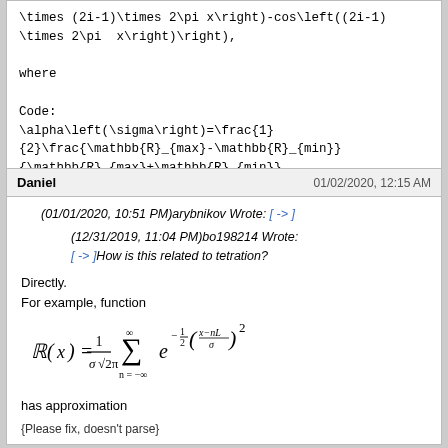\times (2i-1)\times 2\pi x\right)-cos\left((2i-1)\times 2\pi  x\right)\right),
where
Code:
\alpha\left(\sigma\right)=\frac{1}{2}\frac{\mathbb{R}_{max}-\mathbb{R}_{min}}{\mathbb{R}_{max}+\mathbb{R}_{min}}.
Daniel    01/02/2020, 12:15 AM
(01/01/2020, 10:51 PM)arybnikov Wrote: [ -> ]
(12/31/2019, 11:04 PM)bo198214 Wrote: [ -> ]How is this related to tetration?
Directly.
For example, function
has approximation
{Please fix, doesn't parse}